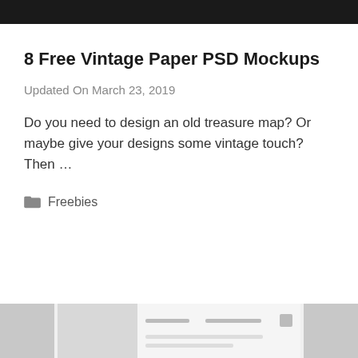[Figure (photo): Dark image strip at top of page, appears to be a partial decorative/header image]
8 Free Vintage Paper PSD Mockups
Updated On March 23, 2019
Do you need to design an old treasure map? Or maybe give your designs some vintage touch? Then …
Freebies
[Figure (screenshot): Partial screenshot of a website interface at the bottom of the page with gray placeholder images and UI elements, overlaid with a close (X) button]